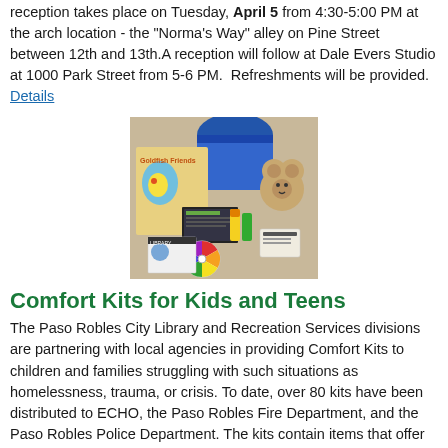reception takes place on Tuesday, April 5 from 4:30-5:00 PM at the arch location - the "Norma's Way" alley on Pine Street between 12th and 13th.A reception will follow at Dale Evers Studio at 1000 Park Street from 5-6 PM.  Refreshments will be provided. Details
[Figure (photo): A collection of comfort kit items including a book with a fishbowl cover, a blue drawstring bag, a stuffed bear, crayons, pamphlets/brochures, and a colorful wheel spinner, laid out on a flat surface.]
Comfort Kits for Kids and Teens
The Paso Robles City Library and Recreation Services divisions are partnering with local agencies in providing Comfort Kits to children and families struggling with such situations as homelessness, trauma, or crisis. To date, over 80 kits have been distributed to ECHO, the Paso Robles Fire Department, and the Paso Robles Police Department. The kits contain items that offer children and teens comfort, distraction, and enrichment in both the short-term and over time. Details